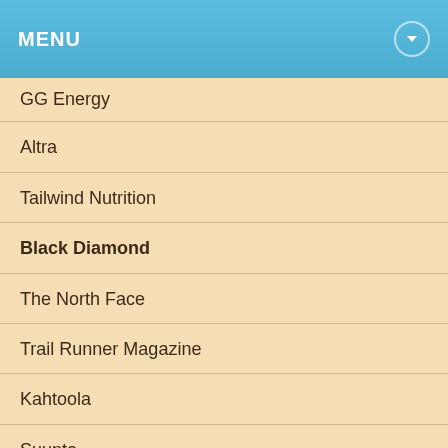MENU
GG Energy
Altra
Tailwind Nutrition
Black Diamond
The North Face
Trail Runner Magazine
Kahtoola
Suunto
iRunFar
Ultimate Direction
Squirrel's Nut Butter
OpenSplitTime